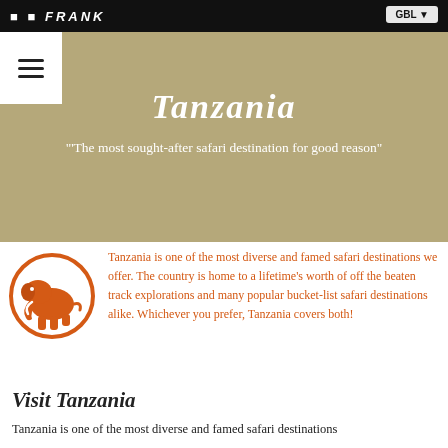FRANK | GBP
[Figure (logo): Hamburger menu icon in white box on tan hero background]
Tanzania
"'The most sought-after safari destination for good reason"
[Figure (illustration): Orange elephant silhouette inside orange circle]
Tanzania is one of the most diverse and famed safari destinations we offer. The country is home to a lifetime's worth of off the beaten track explorations and many popular bucket-list safari destinations alike. Whichever you prefer, Tanzania covers both!
Visit Tanzania
Tanzania is one of the most diverse and famed safari destinations